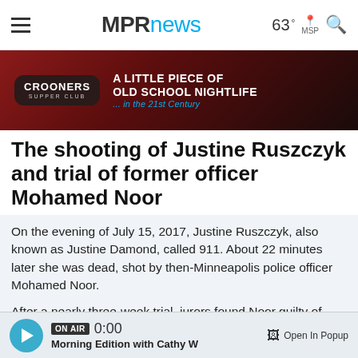MPRnews  63° MSP
[Figure (photo): Advertisement banner for Crooners Supper Club: 'A Little Piece of Old School Nightlife ... in the 21st Century']
The shooting of Justine Ruszczyk and trial of former officer Mohamed Noor
On the evening of July 15, 2017, Justine Ruszczyk, also known as Justine Damond, called 911. About 22 minutes later she was dead, shot by then-Minneapolis police officer Mohamed Noor.
After a nearly three-week trial, jurors found Noor guilty of third-degree murder and second-degree manslaughter in Ruszczyk's death.
ON AIR  0:00  Morning Edition with Cathy W  Open In Popup